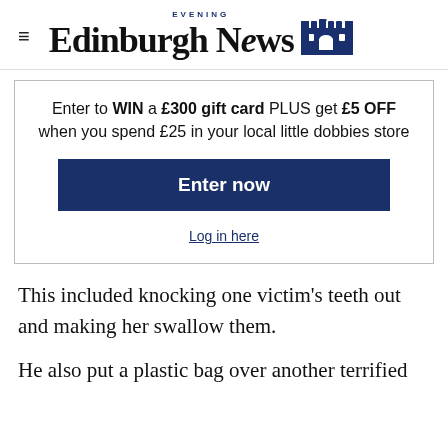Edinburgh Evening News
Enter to WIN a £300 gift card PLUS get £5 OFF when you spend £25 in your local little dobbies store
Enter now
Log in here
This included knocking one victim's teeth out and making her swallow them.
He also put a plastic bag over another terrified